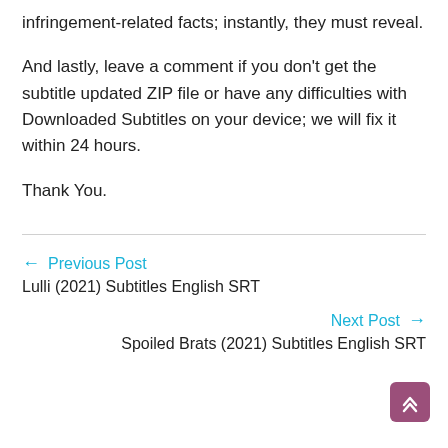infringement-related facts; instantly, they must reveal.
And lastly, leave a comment if you don't get the subtitle updated ZIP file or have any difficulties with Downloaded Subtitles on your device; we will fix it within 24 hours.
Thank You.
← Previous Post
Lulli (2021) Subtitles English SRT
Next Post →
Spoiled Brats (2021) Subtitles English SRT